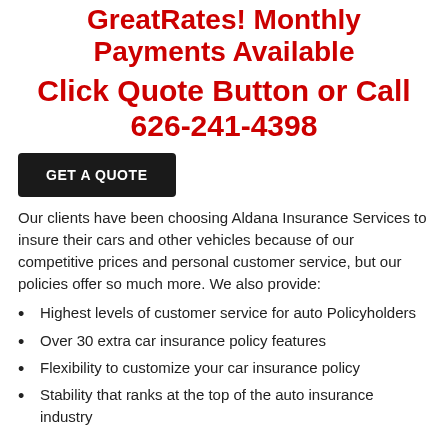GreatRates! Monthly Payments Available
Click Quote Button or Call 626-241-4398
GET A QUOTE
Our clients have been choosing Aldana Insurance Services to insure their cars and other vehicles because of our competitive prices and personal customer service, but our policies offer so much more. We also provide:
Highest levels of customer service for auto Policyholders
Over 30 extra car insurance policy features
Flexibility to customize your car insurance policy
Stability that ranks at the top of the auto insurance industry